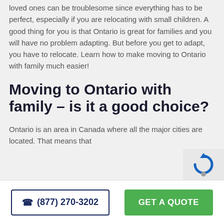loved ones can be troublesome since everything has to be perfect, especially if you are relocating with small children. A good thing for you is that Ontario is great for families and you will have no problem adapting. But before you get to adapt, you have to relocate. Learn how to make moving to Ontario with family much easier!
Moving to Ontario with family – is it a good choice?
Ontario is an area in Canada where all the major cities are located. That means that
[Figure (other): reCAPTCHA widget partial view in bottom-right corner]
☎ (877) 270-3202
GET A QUOTE